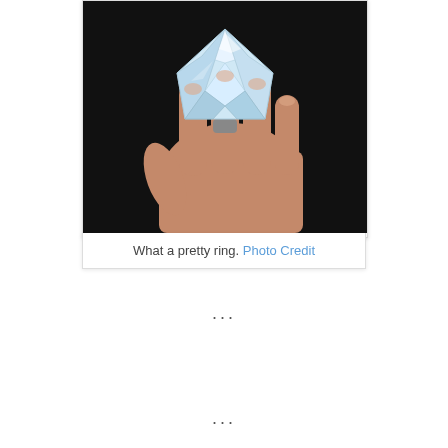[Figure (photo): A hand holding a very large faceted crystal/glass diamond ring against a black background. The hand is palm-down with fingers pointing toward the viewer and a giant clear faceted gemstone ring on one finger.]
What a pretty ring. Photo Credit
...
...